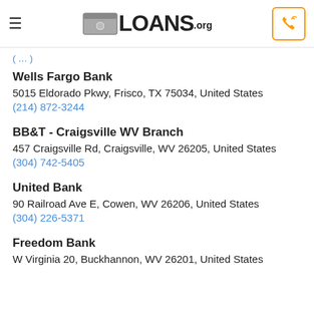≡  LOANS.org  [phone icon]
( … )
Wells Fargo Bank
5015 Eldorado Pkwy, Frisco, TX 75034, United States
(214) 872-3244
BB&T - Craigsville WV Branch
457 Craigsville Rd, Craigsville, WV 26205, United States
(304) 742-5405
United Bank
90 Railroad Ave E, Cowen, WV 26206, United States
(304) 226-5371
Freedom Bank
W Virginia 20, Buckhannon, WV 26201, United States